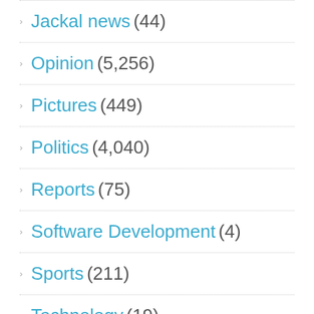Jackal news (44)
Opinion (5,256)
Pictures (449)
Politics (4,040)
Reports (75)
Software Development (4)
Sports (211)
Technology (19)
Travel (9)